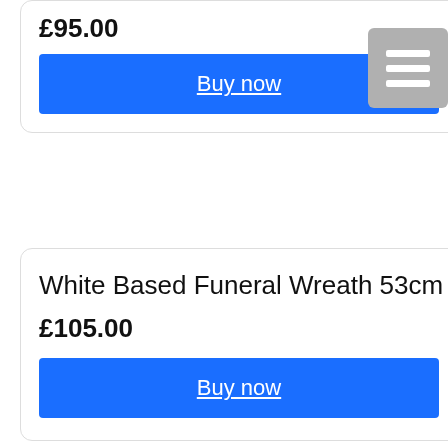£95.00
Buy now
White Based Funeral Wreath 53cm
£105.00
Buy now